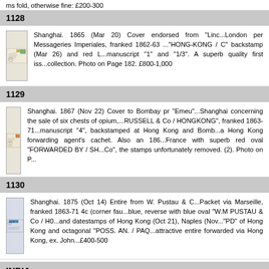ms fold, otherwise fine: £200-300
1128
[Figure (photo): Philatelic cover lot 1128 - envelope with stamps]
Shanghai. 1865 (Mar 20) Cover endorsed from "Lino...London per Messageries Imperiales, franked 1862-63 ..."HONG-KONG / C" backstamp (Mar 26) and red L...manuscript "1" and "1/3". A superb quality first iss...collection. Photo on Page 182. £800-1,000
1129
[Figure (photo): Philatelic cover lot 1129 - envelope with stamps]
Shanghai. 1867 (Nov 22) Cover to Bombay pr "Emeu"...Shanghai concerning the sale of six chests of opium,...RUSSELL & Co / HONGKONG", franked 1863-71...manuscript "4", backstamped at Hong Kong and Bomb...a Hong Kong forwarding agent's cachet. Also an 186...France with superb red oval "FORWARDED BY / SH...Co", the stamps unfortunately removed. (2). Photo on P...
1130
[Figure (photo): Philatelic cover lot 1130 - envelope with stamps]
Shanghai. 1875 (Oct 14) Entire from W. Pustau & C...Packet via Marseille, franked 1863-71 4c (corner faul...blue, reverse with blue oval "W.M PUSTAU & Co / H0...and datestamps of Hong Kong (Oct 21), Naples (Nov..."PD" of Hong Kong and octagonal "POSS. AN. / PAQ...attractive entire forwarded via Hong Kong, ex. John...£400-500
INDIA
(Also See Lots 109-239, 268, 275, 283, 309, 349, 487, 782, 816/8...